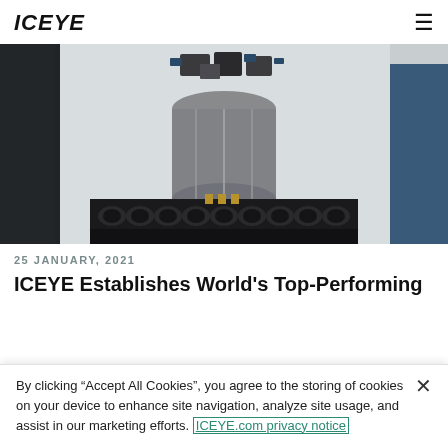ICEYE
[Figure (photo): Photo of a rocket fairing interior with satellites and launch hardware, taken inside a cleanroom or integration facility. Multiple small satellites visible at top, with cylindrical rocket engine or dispenser mechanism in center, and rows of black rocket engine nozzles at bottom.]
25 JANUARY, 2021
ICEYE Establishes World's Top-Performing
By clicking “Accept All Cookies”, you agree to the storing of cookies on your device to enhance site navigation, analyze site usage, and assist in our marketing efforts. ICEYE.com privacy notice